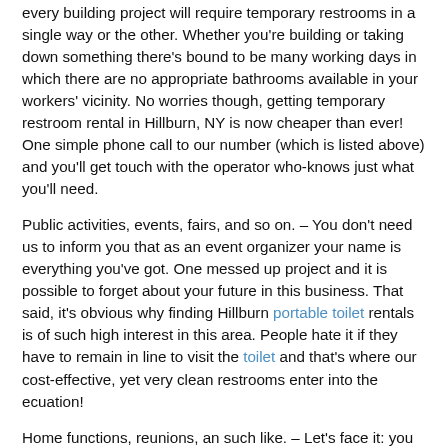every building project will require temporary restrooms in a single way or the other. Whether you're building or taking down something there's bound to be many working days in which there are no appropriate bathrooms available in your workers' vicinity. No worries though, getting temporary restroom rental in Hillburn, NY is now cheaper than ever! One simple phone call to our number (which is listed above) and you'll get touch with the operator who-knows just what you'll need.
Public activities, events, fairs, and so on. – You don't need us to inform you that as an event organizer your name is everything you've got. One messed up project and it is possible to forget about your future in this business. That said, it's obvious why finding Hillburn portable toilet rentals is of such high interest in this area. People hate it if they have to remain in line to visit the toilet and that's where our cost-effective, yet very clean restrooms enter into the ecuation!
Home functions, reunions, an such like. – Let's face it: you feel amazing when you're the host of the party and everyone is congratulating you about how great every thing is. But how about your toilet? Having 30 people – some of which you hardly even recognize – using it while drinking heavily isn't something many people might consider pleasant. The cleaning service is a lot...